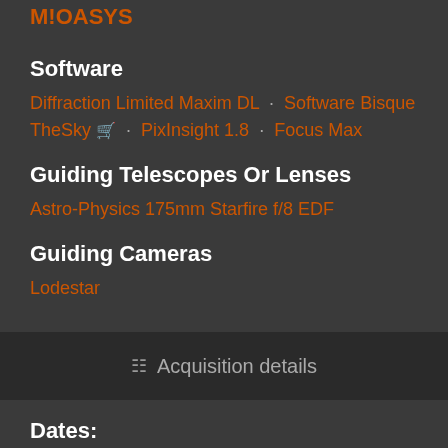M!OASYS
Software
Diffraction Limited Maxim DL · Software Bisque TheSky 🛒 · PixInsight 1.8 · Focus Max
Guiding Telescopes Or Lenses
Astro-Physics 175mm Starfire f/8 EDF
Guiding Cameras
Lodestar
Acquisition details
Dates:
June 30, 2017
F